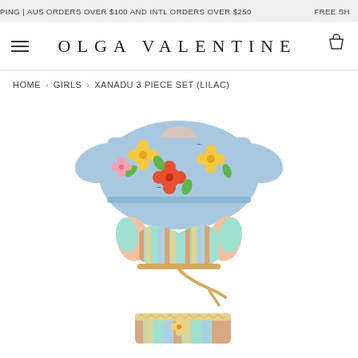PING | AUS ORDERS OVER $100 AND INTL ORDERS OVER $250   FREE SH
OLGA VALENTINE
HOME › GIRLS › XANADU 3 PIECE SET (LILAC)
[Figure (photo): Flat lay product photo of a 3-piece girls swimwear set in lilac/pastel colors. Top piece is a short-sleeve crop top with floral print (blue background, yellow and red flowers). Middle piece is a bikini top with ruffled shoulder straps in pastel rainbow stripes with a tie front. Bottom piece is a matching skirt/bottom in the same rainbow stripe with lace trim waistband.]